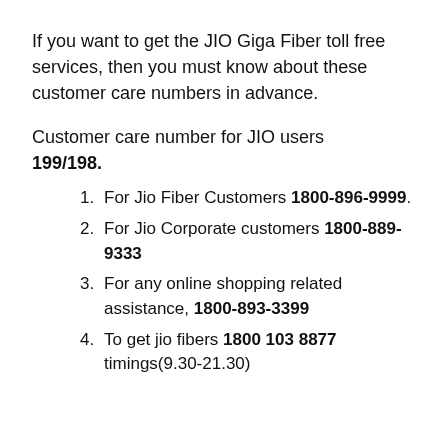If you want to get the JIO Giga Fiber toll free services, then you must know about these customer care numbers in advance.
Customer care number for JIO users 199/198.
For Jio Fiber Customers 1800-896-9999.
For Jio Corporate customers 1800-889-9333
For any online shopping related assistance, 1800-893-3399
To get jio fibers 1800 103 8877 timings(9.30-21.30)